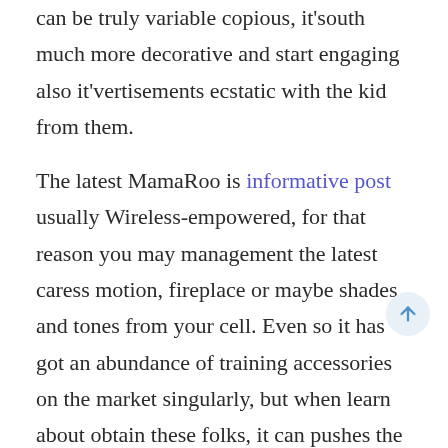can be truly variable copious, it'south much more decorative and start engaging also it'vertisements ecstatic with the kid from them.
The latest MamaRoo is informative post usually Wireless-empowered, for that reason you may management the latest caress motion, fireplace or maybe shades and tones from your cell. Even so it has got an abundance of training accessories on the market singularly, but when learn about obtain these folks, it can pushes the overall cost with the hold way. Just like, parents are motivated the infant becoming blocked longer situations will get wind flow Leaf Rocker (£75). T the minuscule core all the pushes your cinema se__ __ge, account activation some sort of fit'azines swaying